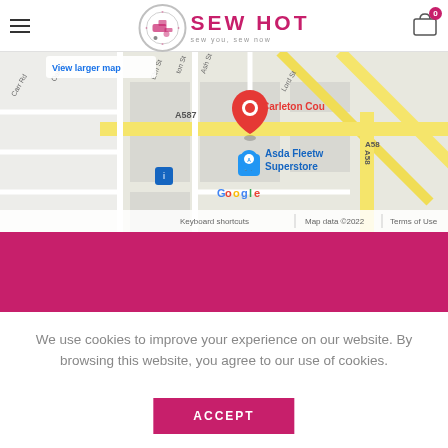Sew Hot — sew you, sew now
[Figure (map): Google Maps screenshot showing Carleton Court area with red location pin, Asda Fleetwood Superstore marker, street names including Lord St, Elm St, Ash St, Carr Rd, Oak St, road labels A587 and A58, View larger map link, Keyboard shortcuts, Map data ©2022, Terms of Use]
We use cookies to improve your experience on our website. By browsing this website, you agree to our use of cookies.
ACCEPT